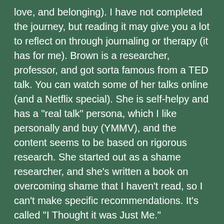love, and belonging). I have not completed the journey, but reading it may give you a lot to reflect on through journaling or therapy (it has for me). Brown is a researcher, professor, and got sorta famous from a TED talk. You can watch some of her talks online (and a Netflix special). She is self-helpy and has a "real talk" persona, which I like personally and buy (YMMV), and the content seems to be based on rigorous research. She started out as a shame researcher, and she's written a book on overcoming shame that I haven't read, so I can't make specific recommendations. It's called "I Thought it was Just Me."
To find love and belonging you'll have to love yourself too, which I don't think you can do fully if you see yourself as "deeply wrong". If you feel people pick you out of the pack because they've detected something wrong with you, they are likely picking up on the fact that you see yourself this way. Feeling uncomfortable in your own skin has a way of manifesting even if you are good at conversation. If you're